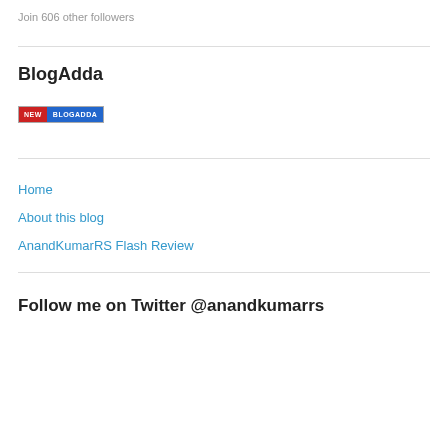Join 606 other followers
BlogAdda
[Figure (logo): BlogAdda badge with NEW label in red and BLOGADDA text in blue]
Home
About this blog
AnandKumarRS Flash Review
Follow me on Twitter @anandkumarrs